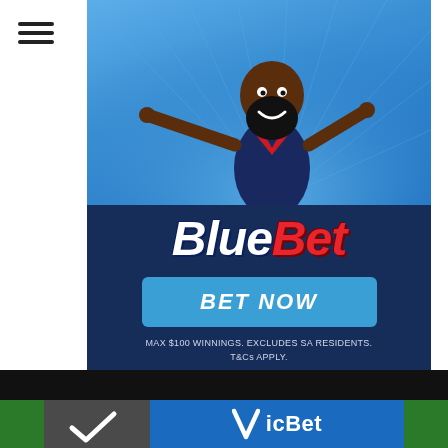[Figure (illustration): Hamburger menu icon (three horizontal lines) in upper left corner of a white background]
[Figure (illustration): BlueBet sports betting advertisement banner. Upper portion shows a cartoon illustration of a bearded dark-skinned AFL footballer in navy and red Melbourne Demons uniform against a sky blue background with radial ray lines. Lower dark navy section shows the BlueBet logo (Blue in white italic, Bet in red italic), a light blue 'BET NOW' button, and disclaimer text reading 'MAX $100 WINNINGS. EXCLUDES SA RESIDENTS. T&Cs APPLY.']
[Figure (logo): VicBet advertisement banner at bottom. Black separator bar above. Green strips on left and right edges. Center-left shows a grey image section with a white checkmark/tick. Center-right shows blue section with VicBet logo (white tick/V mark and VicBet text in white).]
MAX $100 WINNINGS. EXCLUDES SA RESIDENTS. T&Cs APPLY.